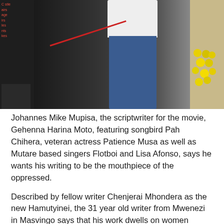[Figure (photo): A person wearing a white shirt and blue jeans standing at what appears to be an outdoor event. On the left side there is a dark strip with partial red text visible. On the right there is beige/tan background with yellow flowers.]
Johannes Mike Mupisa, the scriptwriter for the movie, Gehenna Harina Moto, featuring songbird Pah Chihera, veteran actress Patience Musa as well as Mutare based singers Flotboi and Lisa Afonso, says he wants his writing to be the mouthpiece of the oppressed.
Described by fellow writer Chenjerai Mhondera as the new Hamutyinei, the 31 year old writer from Mwenezi in Masvingo says that his work dwells on women abuse and social ills perpetrated either by politicians or other people of influence in society.
An Archaeology graduate from Midlands State University (MSU), Johannes who has so far co-authored several